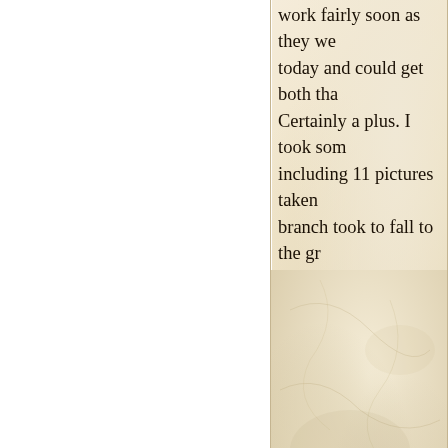work fairly soon as they we today and could get both tha Certainly a plus. I took som including 11 pictures taken branch took to fall to the gr
[Figure (photo): Crumpled parchment or paper texture with warm beige and cream tones, appearing as a background or decorative element behind the blog post card.]
Categories: Flowers and P
Who Am I?